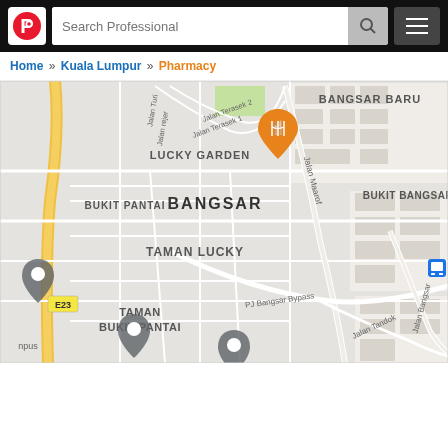Search Professional — navigation bar with logo
Home » Kuala Lumpur » Pharmacy
[Figure (map): Google-style street map showing Bangsar area in Kuala Lumpur, Malaysia. Visible neighborhoods: Bangsar Baru, Lucky Garden, Bangsar, Bukit Pantai, Bukit Bangsar, Taman Lucky, Taman Bukit Pantai. Roads include Jalan Terasek 1, Jalan Terasek 2, Jalan Maarof, PJ Bangsar Bypass, Jalan Tandok, Jalan Bangsar. An orange restaurant pin marker and a blue transit icon are visible. Highway E23 is labeled.]